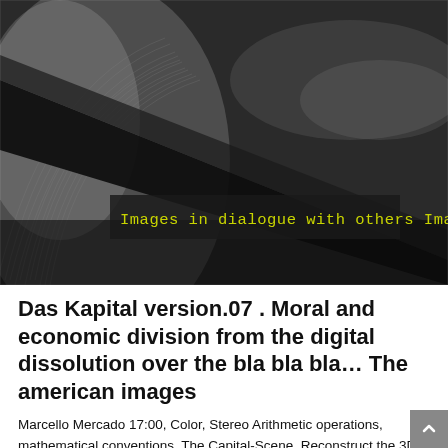[Figure (photo): Abstract dark grayscale image with swirling light patterns and a diagonal dark band. Overlaid text in yellow-green reads: 'Images in dialogue with others Images.' on a semi-transparent dark background strip.]
Das Kapital version.07 . Moral and economic division from the digital dissolution over the bla bla bla… The american images
Marcello Mercado 17:00, Color, Stereo Arithmetic operations, mathematical conventions. The Capital-Scene. Reconstruct the 3D coordinates of the 2D points that are